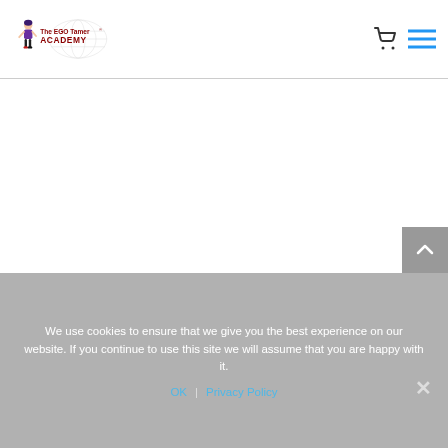[Figure (logo): The EGO Tamer® Academy logo with cartoon figure and globe watermark]
[Figure (other): Shopping cart icon and hamburger menu icon in the top right navigation]
We use cookies to ensure that we give you the best experience on our website. If you continue to use this site we will assume that you are happy with it.
OK   Privacy Policy